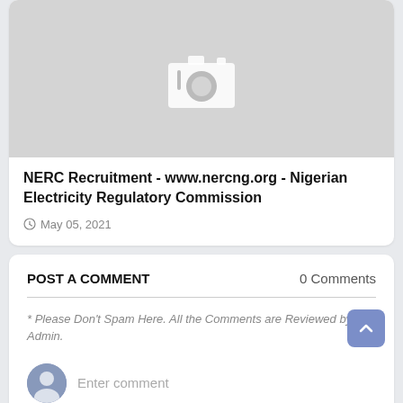[Figure (photo): Placeholder image with a grey background and a white camera icon in the center]
NERC Recruitment - www.nercng.org - Nigerian Electricity Regulatory Commission
May 05, 2021
POST A COMMENT
0 Comments
* Please Don't Spam Here. All the Comments are Reviewed by Admin.
Enter comment